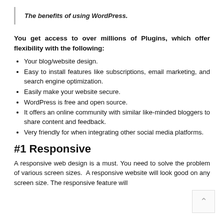The benefits of using WordPress.
You get access to over millions of Plugins, which offer flexibility with the following:
Your blog/website design.
Easy to install features like subscriptions, email marketing, and search engine optimization.
Easily make your website secure.
WordPress is free and open source.
It offers an online community with similar like-minded bloggers to share content and feedback.
Very friendly for when integrating other social media platforms.
#1 Responsive
A responsive web design is a must. You need to solve the problem of various screen sizes.  A responsive website will look good on any screen size. The responsive feature will